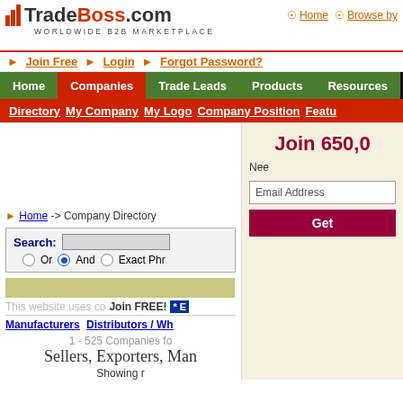TradeBoss.com — WORLDWIDE B2B MARKETPLACE
Home | Browse by
Join Free | Login | Forgot Password?
Home | Companies | Trade Leads | Products | Resources | Buying
Directory | My Company | My Logo | Company Position | Features
Home -> Company Directory
Search: Or And Exact Phrase
Join FREE! * E...
Manufacturers Distributors / Wholesalers
525 Companies for
Sellers, Exporters, Manufacturers
Showing r...
Join 650,000+
Need...
Email Address
Get